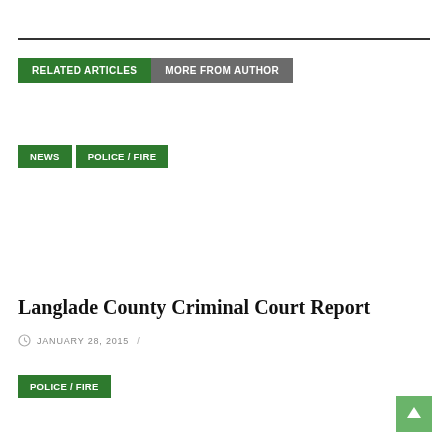RELATED ARTICLES  MORE FROM AUTHOR
NEWS
POLICE / FIRE
Langlade County Criminal Court Report
JANUARY 28, 2015  /
POLICE / FIRE